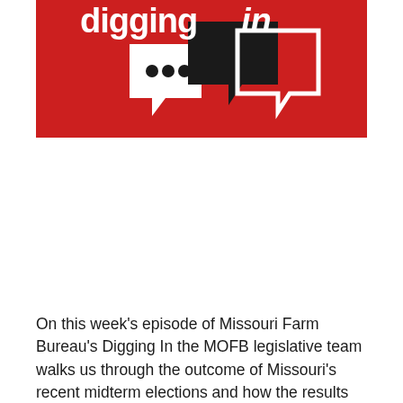[Figure (logo): Red banner logo for 'Digging In' podcast by Missouri Farm Bureau, featuring white bold lowercase text 'digging' and bold italic 'in', with overlapping speech bubble icons in white and black on a red background.]
On this week's episode of Missouri Farm Bureau's Digging In the MOFB legislative team walks us through the outcome of Missouri's recent midterm elections and how the results may impact agriculture.